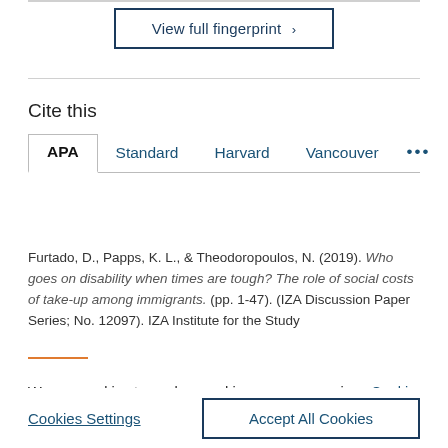View full fingerprint ›
Cite this
APA | Standard | Harvard | Vancouver | ...
Furtado, D., Papps, K. L., & Theodoropoulos, N. (2019). Who goes on disability when times are tough? The role of social costs of take-up among immigrants. (pp. 1-47). (IZA Discussion Paper Series; No. 12097). IZA Institute for the Study
We use cookies to analyse and improve our service. Cookie Policy
Cookies Settings
Accept All Cookies